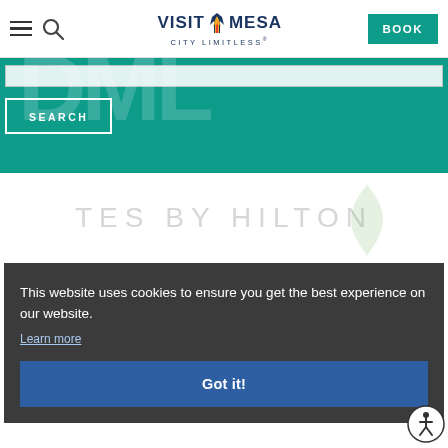VISIT MESA CITY LIMITLESS — BOOK
[Figure (screenshot): Visit Mesa website header with hamburger menu, search icon, Visit Mesa City Limitless logo, and teal BOOK button]
[Figure (screenshot): Teal search bar area with large semi-transparent DML letters and white SEARCH button outline]
[Figure (screenshot): Partial hotel branding: TES BY HILTON text in light gray with green leaf watermark]
This website uses cookies to ensure you get the best experience on our website.
Learn more
Got it!
[Figure (illustration): Accessibility wheelchair icon in circle]